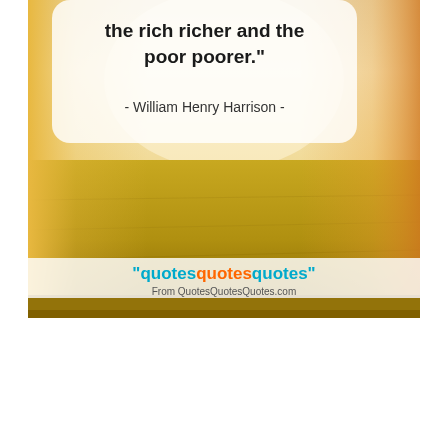[Figure (photo): Outdoor landscape photo with golden grassy meadow and bright sky background, with a white rounded rectangle overlay containing a quote]
the rich richer and the poor poorer.”
- William Henry Harrison -
“quotesquotesquotes” From QuotesQuotesQuotes.com